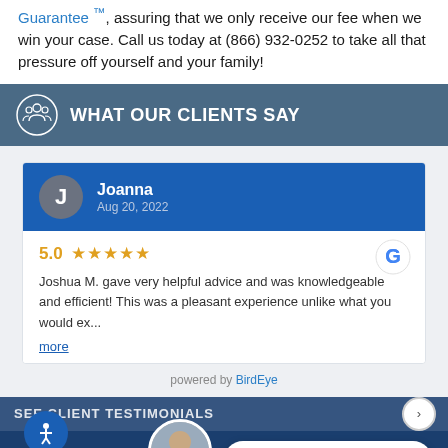Guarantee™, assuring that we only receive our fee when we win your case. Call us today at (866) 932-0252 to take all that pressure off yourself and your family!
WHAT OUR CLIENTS SAY
Joanna
Aug 20, 2022
5.0 ★★★★★
Joshua M. gave very helpful advice and was knowledgeable and efficient! This was a pleasant experience unlike what you would ex... more
powered by BirdEye
LIVE CHAT | START NOW